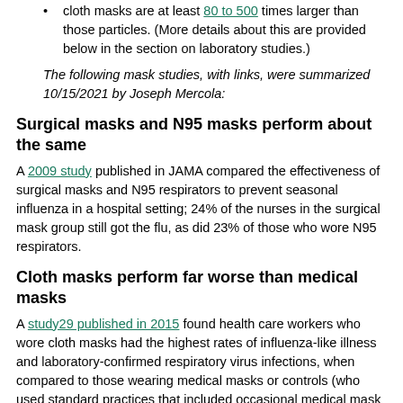cloth masks are at least 80 to 500 times larger than those particles. (More details about this are provided below in the section on laboratory studies.)
The following mask studies, with links, were summarized 10/15/2021 by Joseph Mercola:
Surgical masks and N95 masks perform about the same
A 2009 study published in JAMA compared the effectiveness of surgical masks and N95 respirators to prevent seasonal influenza in a hospital setting; 24% of the nurses in the surgical mask group still got the flu, as did 23% of those who wore N95 respirators.
Cloth masks perform far worse than medical masks
A study29 published in 2015 found health care workers who wore cloth masks had the highest rates of influenza-like illness and laboratory-confirmed respiratory virus infections, when compared to those wearing medical masks or controls (who used standard practices that included occasional medical mask wearing).
Compared to controls and the medical mask